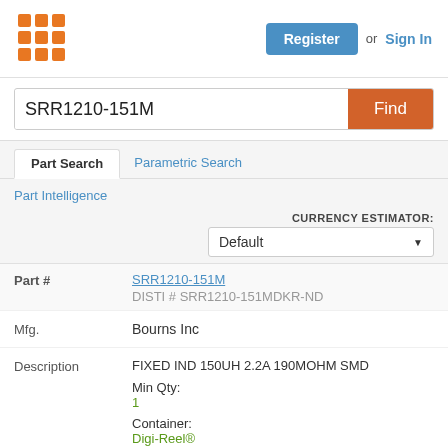[Figure (logo): Orange grid/matrix logo icon made of 9 squares arranged 3x3]
Register or Sign In
SRR1210-151M
Find
Part Search
Parametric Search
Part Intelligence
CURRENCY ESTIMATOR: Default
| Field | Value |
| --- | --- |
| Part # | SRR1210-151M
DISTI # SRR1210-151MDKR-ND |
| Mfg. | Bourns Inc |
| Description | FIXED IND 150UH 2.2A 190MOHM SMD
Min Qty:
1
Container:
Digi-Reel®
Full Details → |
| Stock | 70616 |